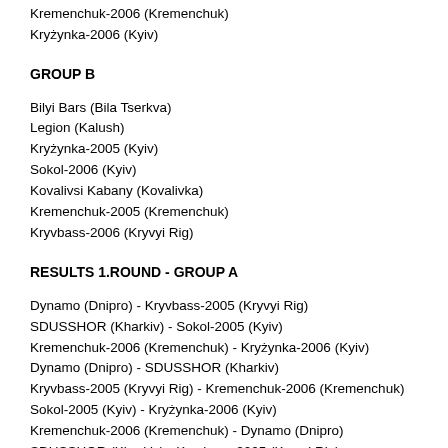Kremenchuk-2006 (Kremenchuk)
Kryżynka-2006 (Kyiv)
GROUP B
Bilyi Bars (Bila Tserkva)
Legion (Kalush)
Kryżynka-2005 (Kyiv)
Sokol-2006 (Kyiv)
Kovalivsi Kabany (Kovalivka)
Kremenchuk-2005 (Kremenchuk)
Kryvbass-2006 (Kryvyi Rig)
RESULTS 1.ROUND - GROUP A
Dynamo (Dnipro) - Kryvbass-2005 (Kryvyi Rig)
SDUSSHOR (Kharkiv) - Sokol-2005 (Kyiv)
Kremenchuk-2006 (Kremenchuk) - Kryżynka-2006 (Kyiv)
Dynamo (Dnipro) - SDUSSHOR (Kharkiv)
Kryvbass-2005 (Kryvyi Rig) - Kremenchuk-2006 (Kremenchuk)
Sokol-2005 (Kyiv) - Kryżynka-2006 (Kyiv)
Kremenchuk-2006 (Kremenchuk) - Dynamo (Dnipro)
SDUSSHOR (Kharkiv) - Kryvbass-2005 (Kryvyi Rig)
Dynamo (Dnipro) - Sokol-2005 (Kyiv)
Kryvbass-2005 (Kryvyi Rig) - Kryżynka-2006 (Kyiv)
Kremenchuk-2006 (Kremenchuk) - SDUSSHOR (Kharkiv)
Kryżynka-2006 (Kyiv) - Dynamo (Dnipro)
Sokol-2005 (Kyiv) - Kryvbass-2005 (Kryvyi Rig)
SDUSSHOR (Kharkiv) - Kryżynka-2006 (Kyiv)